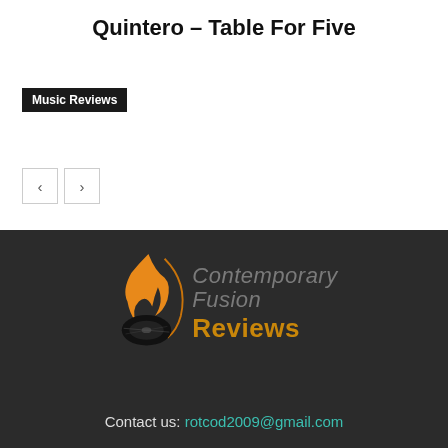Quintero – Table For Five
Music Reviews
[Figure (logo): Contemporary Fusion Reviews logo with flame/vinyl disc icon and text]
Contact us: rotcod2009@gmail.com